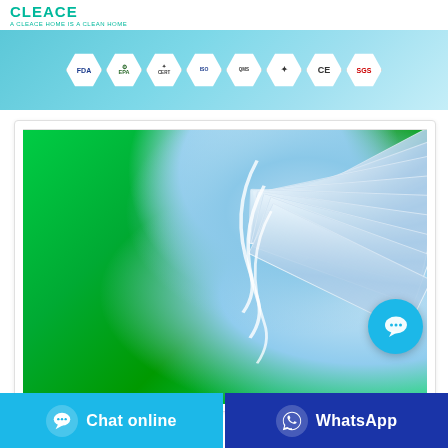CLEACE - A CLEACE HOME IS A CLEAN HOME
[Figure (infographic): Banner with certification badges: FDA, EPA, and 6 other certification logos on a light blue/teal background]
[Figure (photo): Photo of blue surgical/medical face masks arranged on a green background, fan-like arrangement]
Chat online
WhatsApp